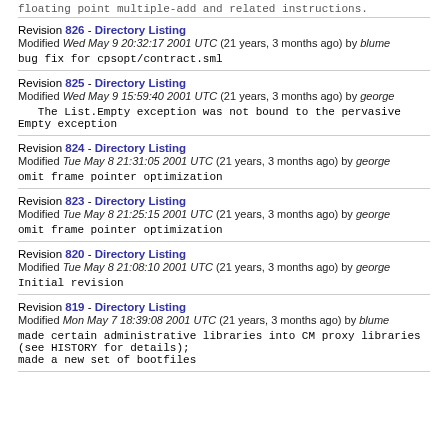floating point multiple-add and related instructions.
Revision 826 - Directory Listing
Modified Wed May 9 20:32:17 2001 UTC (21 years, 3 months ago) by blume
bug fix for cpsopt/contract.sml
Revision 825 - Directory Listing
Modified Wed May 9 15:59:40 2001 UTC (21 years, 3 months ago) by george
The List.Empty exception was not bound to the pervasive Empty exception
Revision 824 - Directory Listing
Modified Tue May 8 21:31:05 2001 UTC (21 years, 3 months ago) by george
omit frame pointer optimization
Revision 823 - Directory Listing
Modified Tue May 8 21:25:15 2001 UTC (21 years, 3 months ago) by george
omit frame pointer optimization
Revision 820 - Directory Listing
Modified Tue May 8 21:08:10 2001 UTC (21 years, 3 months ago) by george
Initial revision
Revision 819 - Directory Listing
Modified Mon May 7 18:39:08 2001 UTC (21 years, 3 months ago) by blume
made certain administrative libraries into CM proxy libraries
(see HISTORY for details);
made a new set of bootfiles